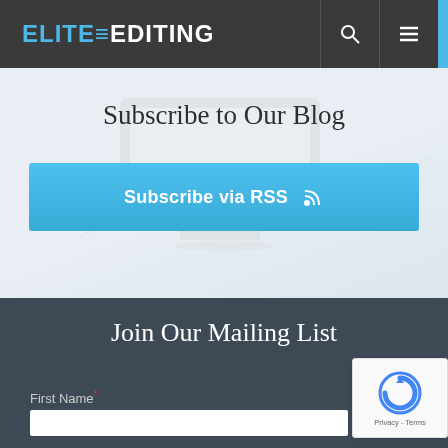ELITE≡EDITING
Subscribe to Our Blog
Subscribe via RSS
Join Our Mailing List
First Name *